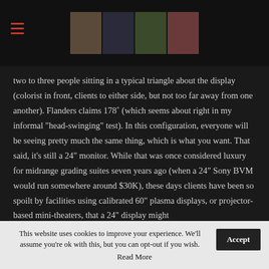[Figure (screenshot): Website header with hamburger menu icon and a strip of thumbnail images]
two to three people sitting in a typical triangle about the display (colorist in front, clients to either side, but not too far away from one another). Flanders claims 178˚ (which seems about right in my informal “head-swinging” test). In this configuration, everyone will be seeing pretty much the same thing, which is what you want. That said, it’s still a 24” monitor. While that was once considered luxury for midrange grading suites seven years ago (when a 24” Sony BVM would run somewhere around $30K), these days clients have been so spoilt by facilities using calibrated 60” plasma displays, or projector-based mini-theaters, that a 24” display might
This website uses cookies to improve your experience. We’ll assume you’re ok with this, but you can opt-out if you wish.
Read More